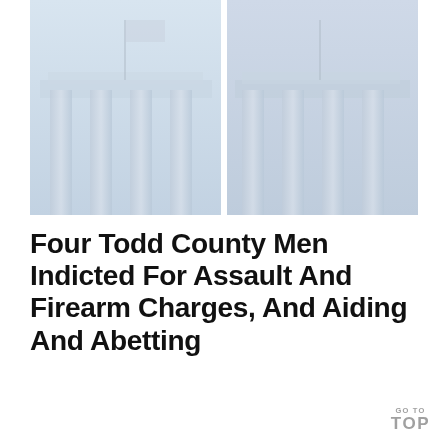[Figure (photo): A faded/washed-out photograph of a courthouse exterior, showing classical columns and a flag, split into two side-by-side panels with a white dividing line.]
Four Todd County Men Indicted For Assault And Firearm Charges, And Aiding And Abetting
GO TO TOP